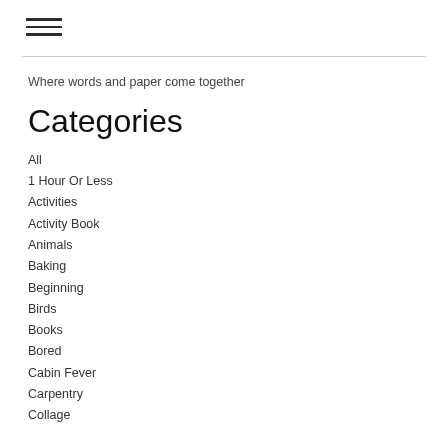≡
Where words and paper come together
Categories
All
1 Hour Or Less
Activities
Activity Book
Animals
Baking
Beginning
Birds
Books
Bored
Cabin Fever
Carpentry
Collage